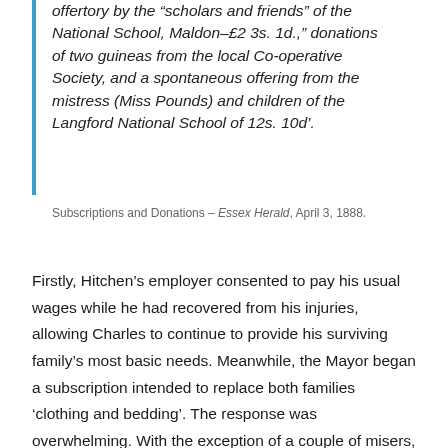offertory by the "scholars and friends" of the National School, Maldon–£2 3s. 1d.," donations of two guineas from the local Co-operative Society, and a spontaneous offering from the mistress (Miss Pounds) and children of the Langford National School of 12s. 10d'.
Subscriptions and Donations – Essex Herald, April 3, 1888.
Firstly, Hitchen's employer consented to pay his usual wages while he had recovered from his injuries, allowing Charles to continue to provide his surviving family's most basic needs. Meanwhile, the Mayor began a subscription intended to replace both families 'clothing and bedding'. The response was overwhelming. With the exception of a couple of misers, there was a vast outpouring of compassion from the local community which resulted in over £80 (over £6,000 in today's money) raised within a matter of days